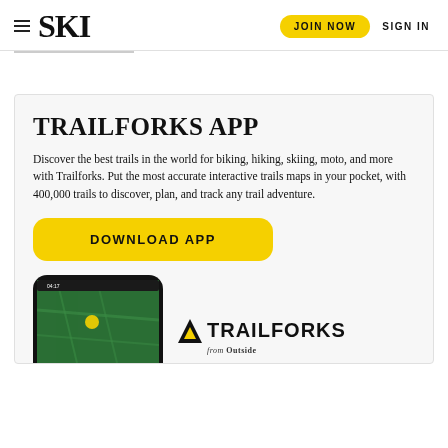SKI | JOIN NOW | SIGN IN
TRAILFORKS APP
Discover the best trails in the world for biking, hiking, skiing, moto, and more with Trailforks. Put the most accurate interactive trails maps in your pocket, with 400,000 trails to discover, plan, and track any trail adventure.
[Figure (screenshot): Yellow DOWNLOAD APP button]
[Figure (screenshot): Smartphone showing trail map app screen next to Trailforks from Outside logo]